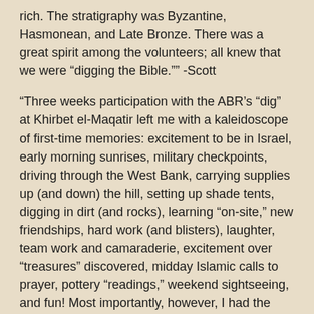rich. The stratigraphy was Byzantine, Hasmonean, and Late Bronze. There was a great spirit among the volunteers; all knew that we were "digging the Bible."" -Scott
"Three weeks participation with the ABR's "dig" at Khirbet el-Maqatir left me with a kaleidoscope of first-time memories: excitement to be in Israel, early morning sunrises, military checkpoints, driving through the West Bank, carrying supplies up (and down) the hill, setting up shade tents, digging in dirt (and rocks), learning "on-site," new friendships, hard work (and blisters), laughter, team work and camaraderie, excitement over "treasures" discovered, midday Islamic calls to prayer, pottery "readings," weekend sightseeing, and fun! Most importantly, however, I had the privilege of participating with the ABR team in seeking to demonstrate the historical reliability of God's Word." -Debbie 2010   Go To Top
"My time at Khirbet el-Maqatir last spring was both challenging and eye-opening. I learned more about archaeology in my two weeks of digging than I did in my thirteen years of schooling. As an educator, no class that I have taken throughout my time in seminary and university